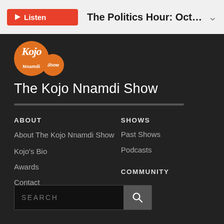Listen  The Politics Hour: October 25,...
[Figure (logo): Two overlapping orange circles forming the Kojo Nnamdi Show logo, with text 'Nnamdi' on the larger circle and 'Show' on the smaller one]
The Kojo Nnamdi Show
ABOUT
About The Kojo Nnamdi Show
Kojo's Bio
Awards
Contact
SHOWS
Past Shows
Podcasts
COMMUNITY